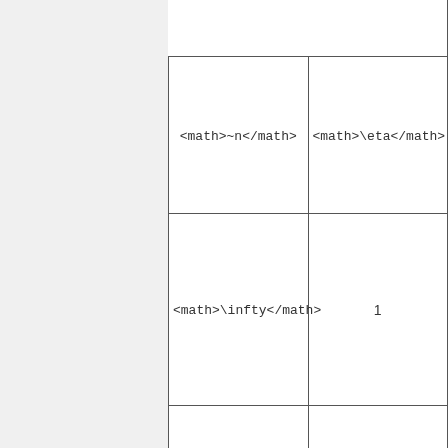|  |  |
| <math>~n</math> | <math>\eta</math> |
| <math>\infty</math> | 1 |
| 5 | 6/5 |